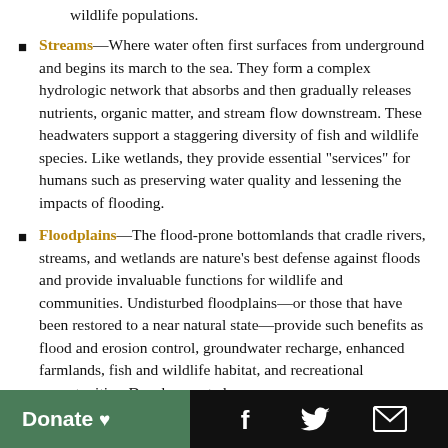wildlife populations.
Streams—Where water often first surfaces from underground and begins its march to the sea. They form a complex hydrologic network that absorbs and then gradually releases nutrients, organic matter, and stream flow downstream. These headwaters support a staggering diversity of fish and wildlife species. Like wetlands, they provide essential "services" for humans such as preserving water quality and lessening the impacts of flooding.
Floodplains—The flood-prone bottomlands that cradle rivers, streams, and wetlands are nature's best defense against floods and provide invaluable functions for wildlife and communities. Undisturbed floodplains—or those that have been restored to a near natural state—provide such benefits as flood and erosion control, groundwater recharge, enhanced farmlands, fish and wildlife habitat, and recreational opportunities. Development along
Donate ♥  [Facebook icon]  [Twitter icon]  [Email icon]